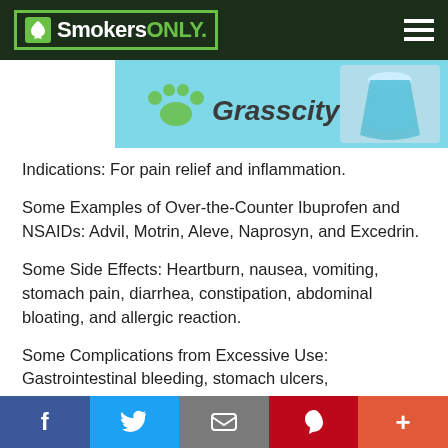SmokersONLY.
[Figure (photo): Grasscity banner advertisement with logo and flask/beaker image on a light blue background]
Indications: For pain relief and inflammation.
Some Examples of Over-the-Counter Ibuprofen and NSAIDs: Advil, Motrin, Aleve, Naprosyn, and Excedrin.
Some Side Effects: Heartburn, nausea, vomiting, stomach pain, diarrhea, constipation, abdominal bloating, and allergic reaction.
Some Complications from Excessive Use: Gastrointestinal bleeding, stomach ulcers, hypertension, increased risk of heart attack, increased risk of stroke, and liver damage.
f | Twitter | email | Pinterest | +